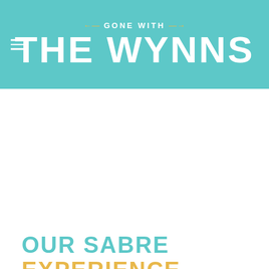GONE WITH THE WYNNS
BOUNDER, OUR RVS, RESURRECTING DINOSAURS, RV LIFESTYLE, RV SHOPPER SERIES, RVING, USA, VIDEOS
OUR SABRE EXPERIENCE – NOISE, RIDE &